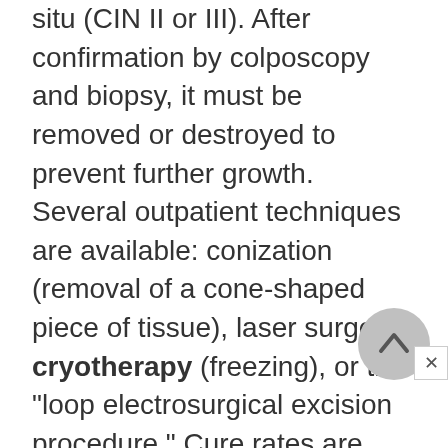situ (CIN II or III). After confirmation by colposcopy and biopsy, it must be removed or destroyed to prevent further growth. Several outpatient techniques are available: conization (removal of a cone-shaped piece of tissue), laser surgery, cryotherapy (freezing), or the "loop electrosurgical excision procedure." Cure rates are nearly 100% after prompt and appropriate treatment of carcinoma in situ. Of course, frequent checkups are then necessary.